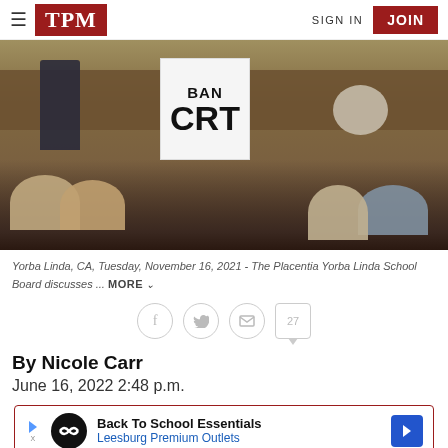TPM | SIGN IN | JOIN
[Figure (photo): A person holds up a hand-written sign reading 'BAN CRT' at what appears to be a school board meeting. People are seated in the foreground and officials are visible at a raised dais in the background.]
Yorba Linda, CA, Tuesday, November 16, 2021 - The Placentia Yorba Linda School Board discusses ... MORE
By Nicole Carr
June 16, 2022 2:48 p.m.
[Figure (other): Advertisement: Back To School Essentials - Leesburg Premium Outlets]